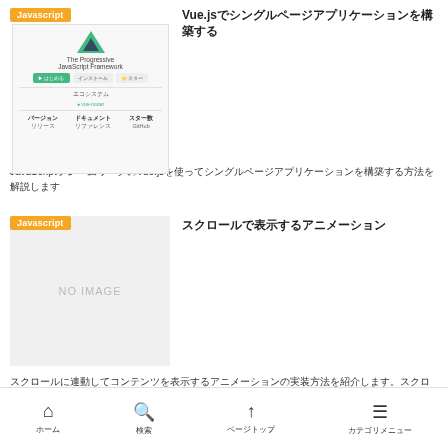[Figure (screenshot): Vue.js website screenshot showing logo, tagline 'The Progressive JavaScript Framework', buttons, and stats]
Vue.jsでシングルページアプリケーションを構築する
JavaScriptフレームワークのVue.jsを使ってシングルページアプリケーションを構築する方法を解説します
[Figure (photo): NO IMAGE placeholder with Javascript tag]
スクロールで表示するアニメーション
スクロールに連動してコンテンツを表示するアニメーションの実装方法を紹介します。スクロールイベントを使った実装方法と、IntersectionObserver APIを使った実装方法を解説します...
[Figure (photo): NO IMAGE placeholder with Javascript tag]
pinterestライクなmasonry jQueryプラグイン
ホーム　検索　ページトップ　カテゴリメニュー